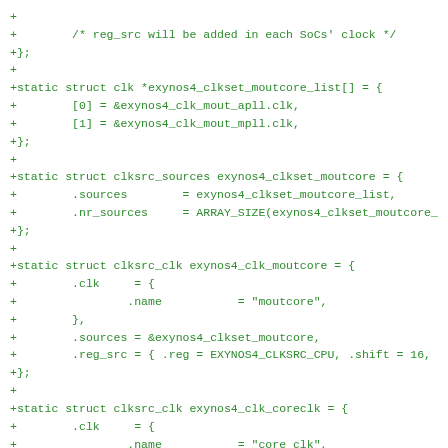[Figure (screenshot): Code diff snippet in green monospace text showing C code for Exynos4 clock source structures including exynos4_clkset_moutcore_list, exynos4_clkset_moutcore, exynos4_clk_moutcore, and exynos4_clk_coreclk on a white background]